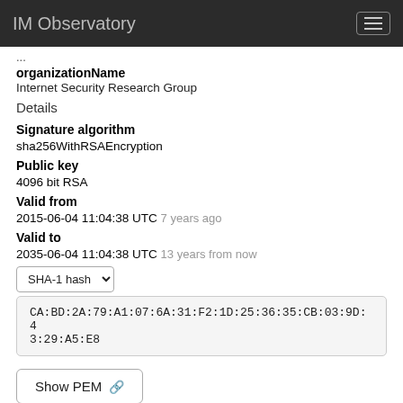IM Observatory
organizationName
Internet Security Research Group
Details
Signature algorithm
sha256WithRSAEncryption
Public key
4096 bit RSA
Valid from
2015-06-04 11:04:38 UTC  7 years ago
Valid to
2035-06-04 11:04:38 UTC  13 years from now
SHA-1 hash
CA:BD:2A:79:A1:07:6A:31:F2:1D:25:36:35:CB:03:9D:43:29:A5:E8
Show PEM